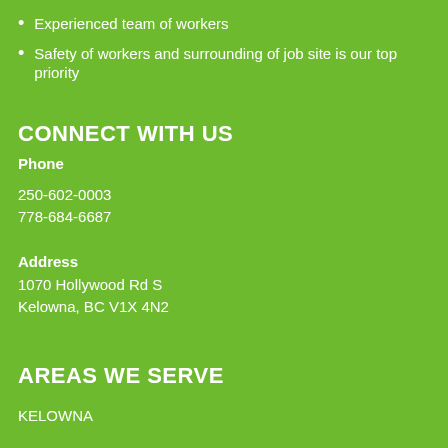Experienced team of workers
Safety of workers and surrounding of job site is our top priority
CONNECT WITH US
Phone
250-602-0003
778-684-6687
Address
1070 Hollywood Rd S
Kelowna, BC V1X 4N2
AREAS WE SERVE
KELOWNA
KAMLOOPS